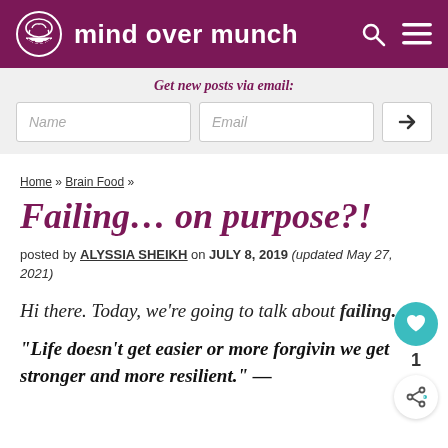mind over munch
Get new posts via email:
Failing... on purpose?!
posted by ALYSSIA SHEIKH on JULY 8, 2019 (updated May 27, 2021)
Hi there. Today, we're going to talk about failing.
“Life doesn’t get easier or more forgivin we get stronger and more resilient.” —